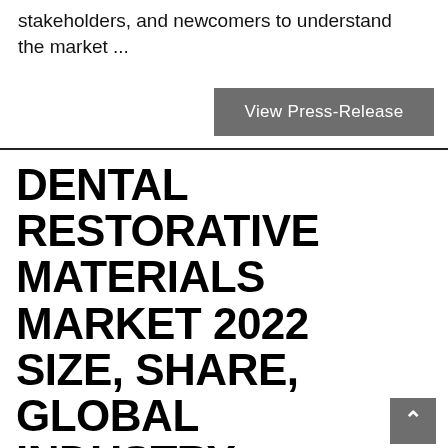stakeholders, and newcomers to understand the market ...
View Press-Release
DENTAL RESTORATIVE MATERIALS MARKET 2022 SIZE, SHARE, GLOBAL INDUSTRY CHALLENGES, TRENDS, OPPORTUNITIES, BUSINESS OVERVIEW, GROWTH AND FORECASTS